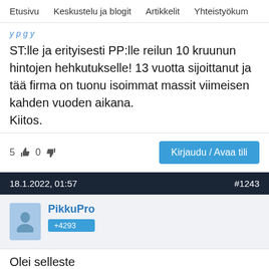Etusivu   Keskustelu ja blogit   Artikkelit   Yhteistyökum
ST:lle ja erityisesti PP:lle reilun 10 kruunun hintojen hehkutukselle! 13 vuotta sijoittanut ja tää firma on tuonu isoimmat massit viimeisen kahden vuoden aikana.
Kiitos.
5  👍  0  👎
Kirjaudu / Avaa tili
18.1.2022, 01:57    #1243
PikkuPro
+4293
Olei selleste